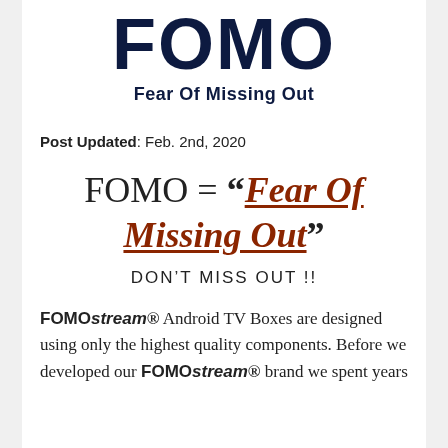FOMO
Fear Of Missing Out
Post Updated: Feb. 2nd, 2020
FOMO = “Fear Of Missing Out”
DON’T MISS OUT !!
FOMOstream® Android TV Boxes are designed using only the highest quality components. Before we developed our FOMOstream® brand we spent years